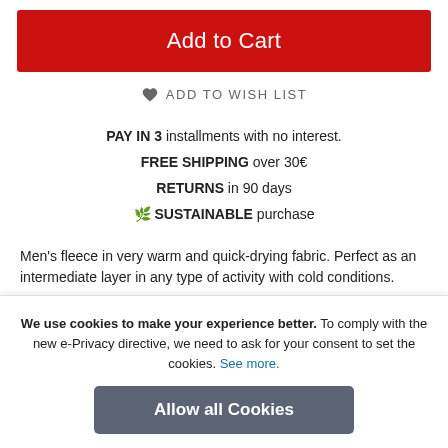Add to Cart
ADD TO WISH LIST
PAY IN 3 installments with no interest. FREE SHIPPING over 30€ RETURNS in 90 days 🌿 SUSTAINABLE purchase
Men's fleece in very warm and quick-drying fabric. Perfect as an intermediate layer in any type of activity with cold conditions.
Details
We use cookies to make your experience better. To comply with the new e-Privacy directive, we need to ask for your consent to set the cookies. See more.
Allow all Cookies